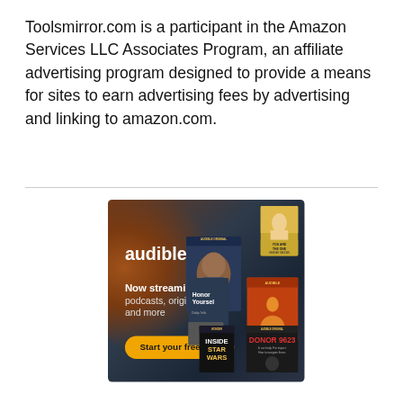Toolsmirror.com is a participant in the Amazon Services LLC Associates Program, an affiliate advertising program designed to provide a means for sites to earn advertising fees by advertising and linking to amazon.com.
[Figure (illustration): Audible advertisement banner showing the Audible logo, 'Now streaming: podcasts, originals, and more' text, a 'Start your free trial' button, and several audiobook/podcast cover images including Honor Yourself, GURU, Inside Star Wars, and DONOR 9623, on a dark brown-to-navy gradient background.]